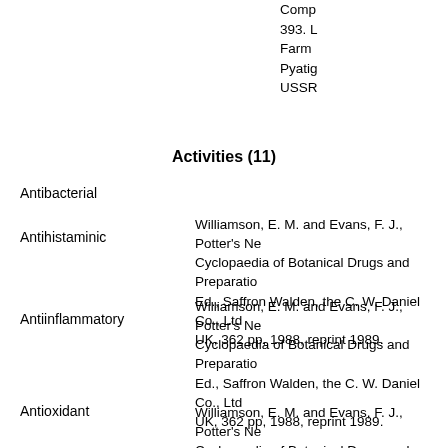393. L Farm Pyatig USSR
Activities (11)
Antibacterial
Antihistaminic — Williamson, E. M. and Evans, F. J., Potter's New Cyclopaedia of Botanical Drugs and Preparations, Ed., Saffron Walden, the C. W. Daniel Co., Ltd UK, 362 pp, 1988, reprint 1989.
Antiinflammatory — Williamson, E. M. and Evans, F. J., Potter's New Cyclopaedia of Botanical Drugs and Preparations, Ed., Saffron Walden, the C. W. Daniel Co., Ltd UK, 362 pp, 1988, reprint 1989.
Antioxidant — Williamson, E. M. and Evans, F. J., Potter's New Cyclopaedia of Botanical Drugs and Preparations, Ed., Saffron Walden, the C. W. Daniel Co., Ltd UK, 362 pp, 1988, reprint 1989.
Antispasmodic — Williamson, E. M. and Evans, F. J., Potter's New Cyclopaedia of Botanical Drugs and Preparations, Ed., Saffron Walden, the C. W. Daniel Co., Ltd UK, 362 pp, 1988, reprint 1989.
Cancer-Preventive — Stitt, P. A. Why George Should Eat Broccoli, D